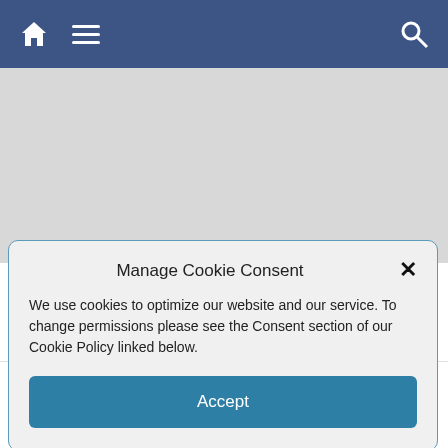[Figure (screenshot): Mobile website navigation bar with home icon, hamburger menu icon on left, and search icon on right, on a dark blue background]
Manage Cookie Consent
We use cookies to optimize our website and our service. To change permissions please see the Consent section of our Cookie Policy linked below.
Accept
Millenium In Mexico–Where To Be?
June 30, 2020